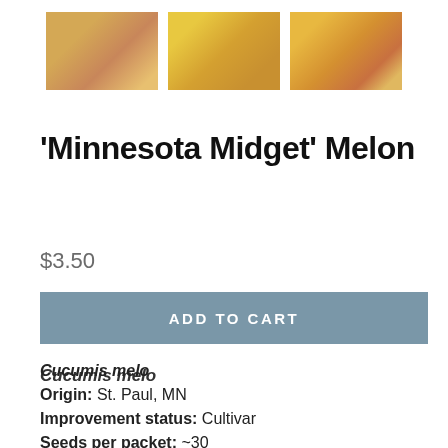[Figure (photo): Three thumbnail photos of 'Minnesota Midget' Melon - showing the melon fruits from various angles, with golden/orange colored flesh]
'Minnesota Midget' Melon
$3.50
ADD TO CART
Cucumis melo
Origin: St. Paul, MN
Improvement status: Cultivar
Seeds per packet: ~30